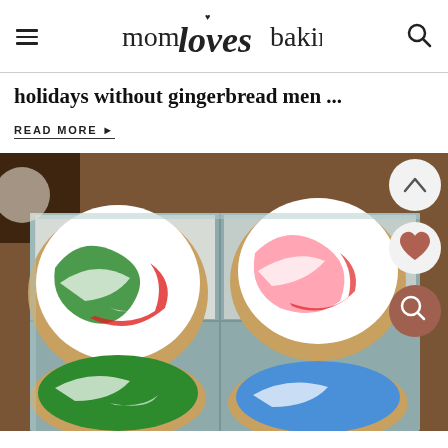mom loves baking
holidays without gingerbread men ...
READ MORE ▸
[Figure (photo): Box of round cookies decorated with colorful swirled icing in red, white, green, and blue marble patterns, arranged in a cardboard box with parchment paper.]